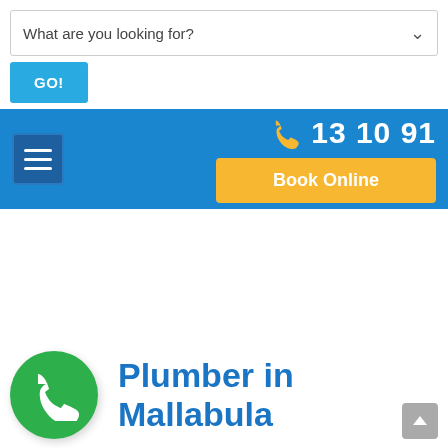[Figure (screenshot): Search dropdown bar with text 'What are you looking for?' and a chevron arrow on the right]
[Figure (screenshot): Blue GO! button]
[Figure (screenshot): Blue navigation bar with hamburger menu on left, phone number '13 10 91' with yellow phone icon, and yellow 'Book Online' button on right]
[Figure (illustration): Green circle with white phone handset icon]
Plumber in Mallabula